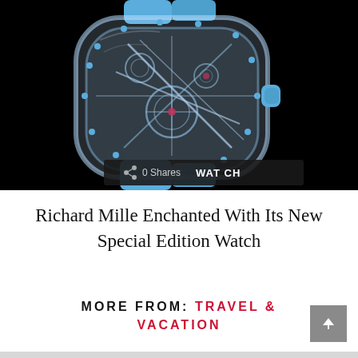[Figure (photo): A transparent/skeleton Richard Mille luxury watch with blue rubber strap and crown, displayed against a black background. The watch has a see-through sapphire crystal case revealing the mechanical movement inside.]
Richard Mille Enchanted With Its New Special Edition Watch
MORE FROM: TRAVEL & VACATION